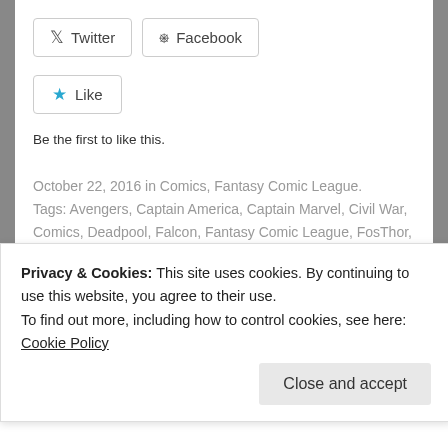[Figure (other): Twitter and Facebook share buttons]
[Figure (other): Like button with star icon]
Be the first to like this.
October 22, 2016 in Comics, Fantasy Comic League. Tags: Avengers, Captain America, Captain Marvel, Civil War, Comics, Deadpool, Falcon, Fantasy Comic League, FosThor, Inhumans, Iron Man, Marvel, Miles Morales, Spider-Man, Thor, X-Men
Related posts
[Figure (photo): Thumbnail image for related post]
Fantasy Comic League: Official Scoring,
Privacy & Cookies: This site uses cookies. By continuing to use this website, you agree to their use.
To find out more, including how to control cookies, see here: Cookie Policy
Close and accept